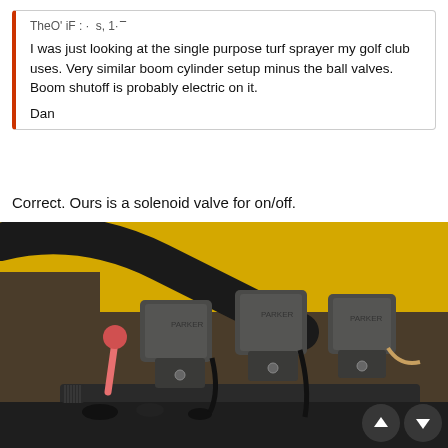TheO' iF : ·  s, 1·  ͞
I was just looking at the single purpose turf sprayer my golf club uses. Very similar boom cylinder setup minus the ball valves. Boom shutoff is probably electric on it.

Dan
Correct. Ours is a solenoid valve for on/off.
[Figure (photo): Close-up photo of solenoid valves mounted on a turf sprayer. Three large gray rectangular solenoid valve bodies are visible, mounted on a manifold with black hydraulic hoses. A pink manual override lever is visible on the left side. The background shows yellow painted equipment bodywork and a black curved frame tube.]